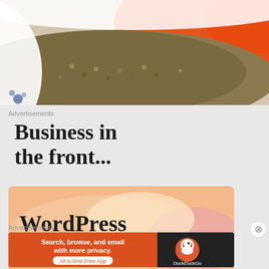[Figure (photo): Close-up photo of food in a white bowl, showing what appears to be a grain or lentil dish with orange/tomato sauce]
Advertisements
Business in the front...
[Figure (screenshot): WordPress advertisement banner with peach/salmon gradient background showing text 'WordPress in the back.']
Advertisements
[Figure (screenshot): DuckDuckGo advertisement: 'Search, browse, and email with more privacy. All in One Free App' with DuckDuckGo logo on dark background]